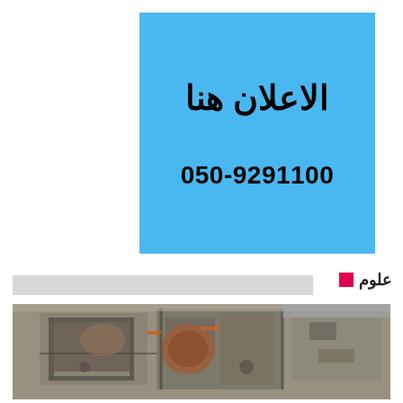[Figure (other): Blue advertisement banner with Arabic text 'الاعلان هنا' (Advertisement here) and phone number 050-9291100]
علوم
[Figure (photo): Aerial photograph of a construction or archaeological excavation site showing ruins, structures, and excavated areas from above]